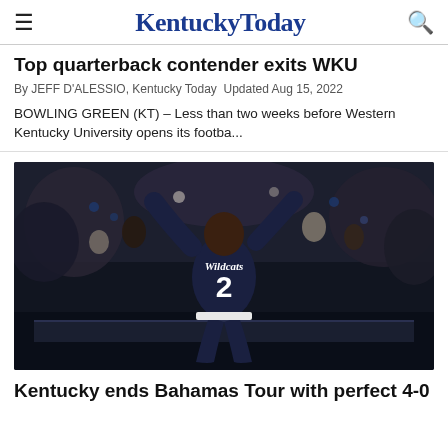KentuckyToday
Top quarterback contender exits WKU
By JEFF D'ALESSIO, Kentucky Today  Updated Aug 15, 2022
BOWLING GREEN (KT) – Less than two weeks before Western Kentucky University opens its footba...
[Figure (photo): Basketball player wearing #2 Wildcats jersey jumping/dunking, with crowd in background]
Kentucky ends Bahamas Tour with perfect 4-0